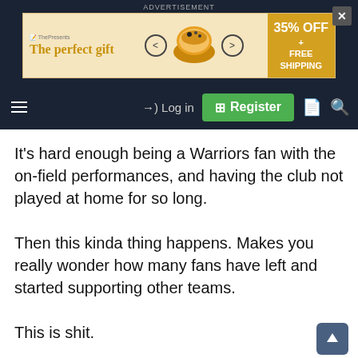ADVERTISEMENT
[Figure (illustration): Advertisement banner for 'The perfect gift' showing food bowl imagery with arrows and 35% OFF + FREE SHIPPING offer]
Log in  Register
It's hard enough being a Warriors fan with the on-field performances, and having the club not played at home for so long.

Then this kinda thing happens. Makes you really wonder how many fans have left and started supporting other teams.

This is shit.
Mr Angry
Not a Referee
Messages: 48,349